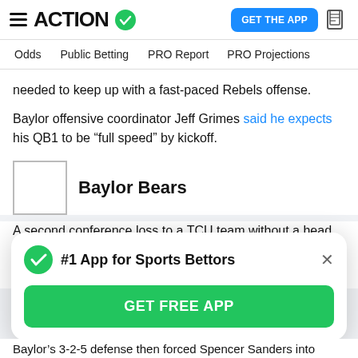ACTION (logo with checkmark) | GET THE APP | News icon
Odds | Public Betting | PRO Report | PRO Projections
needed to keep up with a fast-paced Rebels offense.
Baylor offensive coordinator Jeff Grimes said he expects his QB1 to be “full speed” by kickoff.
Baylor Bears
A second conference loss to a TCU team without a head coach had plenty of people calling curtains for the Bears’ chances at winning the conference.
#1 App for Sports Bettors
GET FREE APP
Baylor’s 3-2-5 defense then forced Spencer Sanders into